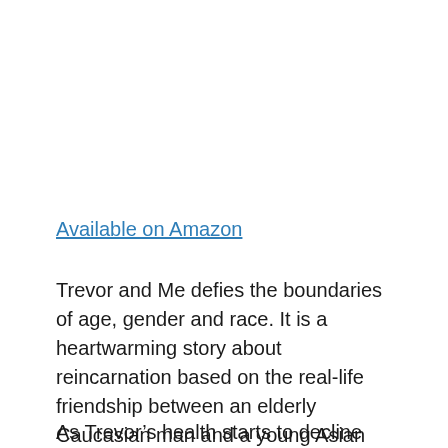Available on Amazon
Trevor and Me defies the boundaries of age, gender and race. It is a heartwarming story about reincarnation based on the real-life friendship between an elderly Caucasian man and a young Asian girl.
As Trevor’s health starts to decline and he